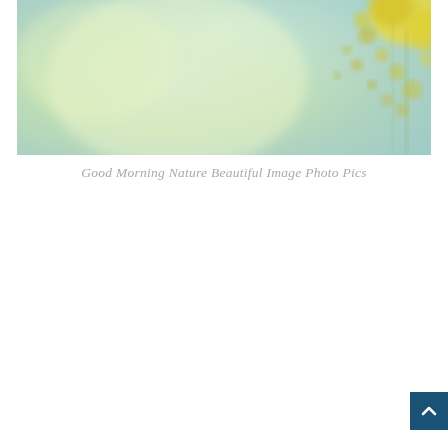[Figure (photo): A blurred nature photograph with a soft green and light blue background. On the right side, yellow flower petals or plant elements are partially visible, out of focus. The overall image has a gentle, airy morning light feel.]
Good Morning Nature Beautiful Image Photo Pics